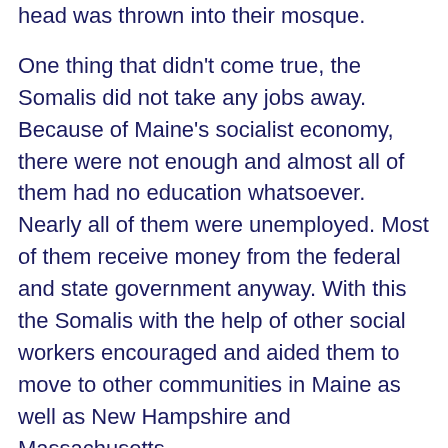head was thrown into their mosque.
One thing that didn't come true, the Somalis did not take any jobs away. Because of Maine's socialist economy, there were not enough and almost all of them had no education whatsoever. Nearly all of them were unemployed. Most of them receive money from the federal and state government anyway. With this the Somalis with the help of other social workers encouraged and aided them to move to other communities in Maine as well as New Hampshire and Massachusetts.
Then in an article in something called The American School, educators learn how to swear...